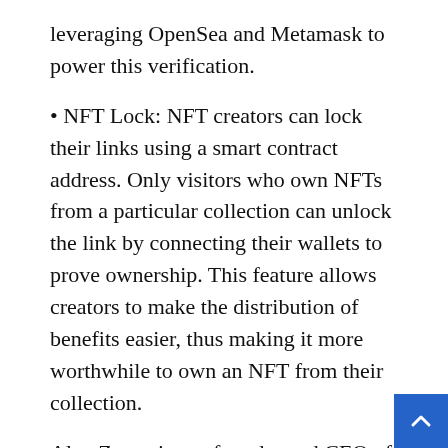leveraging OpenSea and Metamask to power this verification.
• NFT Lock: NFT creators can lock their links using a smart contract address. Only visitors who own NFTs from a particular collection can unlock the link by connecting their wallets to prove ownership. This feature allows creators to make the distribution of benefits easier, thus making it more worthwhile to own an NFT from their collection.
Alex Zaccaria, co-founder and CEO of LInktree, shared: “Web3 and the power of blockchain has granted creators exciting ways to monetise th passions and build their community. As the